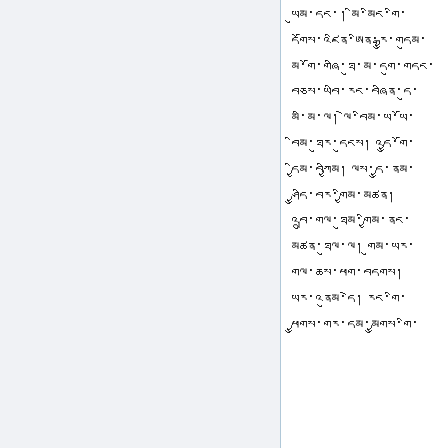Tibetan script text passage spanning multiple lines in the right column of a two-column layout